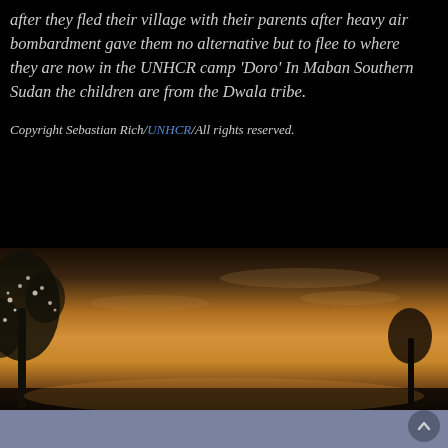after they fled their village with their parents after heavy air bombardment gave them no alternative but to flee to where they are now in the UNHCR camp 'Doro' In Maban Southern Sudan the children are from the Dwala tribe.
Copyright Sebastian Rich/UNHCR/All rights reserved.
[Figure (photo): Silhouette of a person raising a tool (axe or hammer) above their head against a dramatic sunset sky with warm orange and amber tones. A bare tree with white blossoms is visible on the left side of the image.]